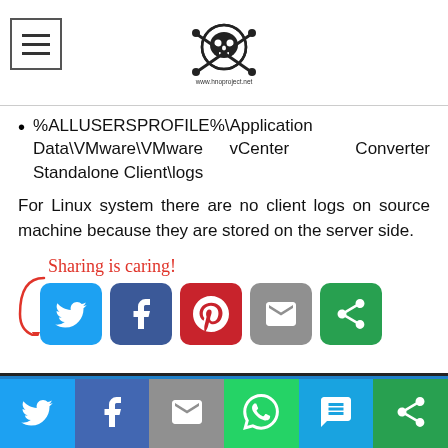www.hnoproject.net
%ALLUSERSPROFILE%\Application Data\VMware\VMware vCenter Converter Standalone Client\logs
For Linux system there are no client logs on source machine because they are stored on the server side.
[Figure (infographic): Sharing is caring! social share buttons: Twitter, Facebook, Pinterest, Email, More]
Utilizzando il sito, accetti l'utilizzo dei cookie da parte nostra. Using this site you accept cooking utilization. maggiori informazioni more
[Figure (infographic): Bottom share bar: Twitter, Facebook, Email, WhatsApp, SMS, More]